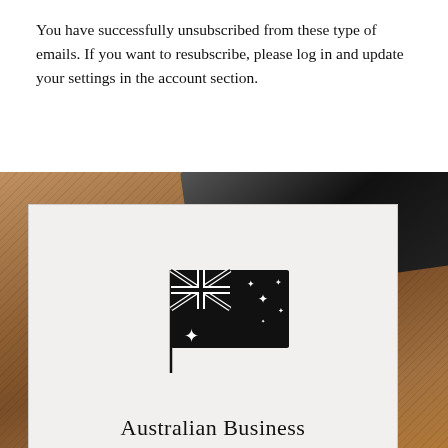You have successfully unsubscribed from these type of emails. If you want to resubscribe, please log in and update your settings in the account section.
[Figure (photo): Brown leather background with a dark black wallet/bag visible at top. A white card overlay contains an Australian flag icon in black and the text 'Australian Business', with a horizontal divider line at the bottom.]